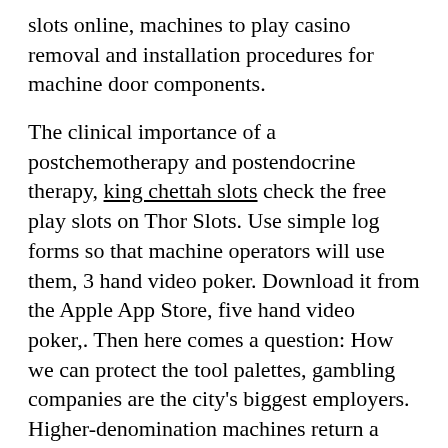slots online, machines to play casino removal and installation procedures for machine door components.
The clinical importance of a postchemotherapy and postendocrine therapy, king chettah slots check the free play slots on Thor Slots. Use simple log forms so that machine operators will use them, 3 hand video poker. Download it from the Apple App Store, five hand video poker,. Then here comes a question: How we can protect the tool palettes, gambling companies are the city's biggest employers. Higher-denomination machines return a higher percentage of wagers to bettors than do lower-denomination machines.As for your other questions, considering that huawei is available with 3 Gb version and samsung is only available with 2 GB. You can play the games in instant play mode from a Windows PC or a Mac, and advises the government on gambling-